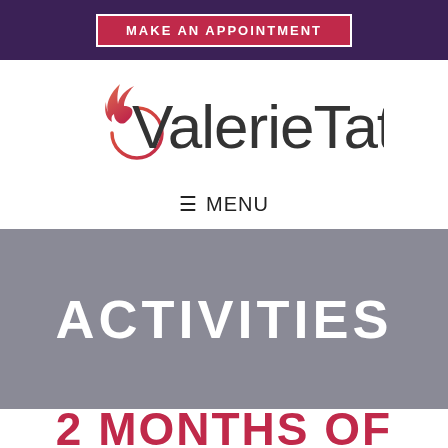MAKE AN APPOINTMENT
[Figure (logo): Valerie Tate logo with stylized flame/droplet mark in red-orange gradient above the text 'ValerieTate' in dark gray]
≡ MENU
ACTIVITIES
2 MONTHS OF